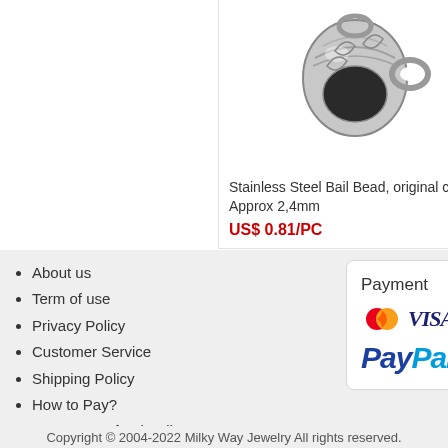[Figure (photo): Stainless steel bail bead jewelry component shown from below, silver/metallic color with decorative pattern]
Stainless Steel Bail Bead, original color Approx 2,4mm
US$ 0.81/PC
Sta... col...
US...
About us
Term of use
Privacy Policy
Customer Service
Shipping Policy
How to Pay?
Return & Refund Policy
How long to receive your order?
[Figure (infographic): Payment methods section showing Mastercard, VISA, American Express logos and PayPal logo]
Copyright © 2004-2022 Milky Way Jewelry All rights reserved.